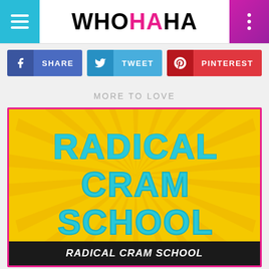WHOHAHA
SHARE
TWEET
PINTEREST
MORE TO LOVE
[Figure (illustration): Radical Cram School logo on yellow sunburst background with cyan dashed-outline block lettering reading RADICAL CRAM SCHOOL]
RADICAL CRAM SCHOOL